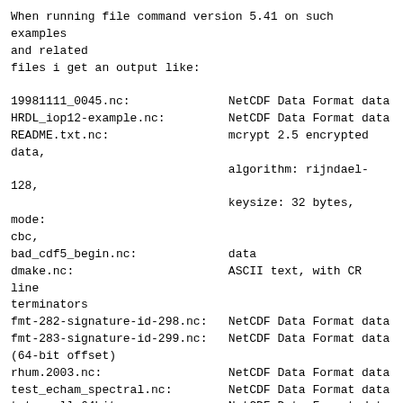When running file command version 5.41 on such examples and related
files i get an output like:

19981111_0045.nc:              NetCDF Data Format data
HRDL_iop12-example.nc:         NetCDF Data Format data
README.txt.nc:                 mcrypt 2.5 encrypted data,
                               algorithm: rijndael-128,
                               keysize: 32 bytes, mode:
cbc,
bad_cdf5_begin.nc:             data
dmake.nc:                      ASCII text, with CR line
terminators
fmt-282-signature-id-298.nc:   NetCDF Data Format data
fmt-283-signature-id-299.nc:   NetCDF Data Format data
(64-bit offset)
rhum.2003.nc:                  NetCDF Data Format data
test_echam_spectral.nc:        NetCDF Data Format data
tst_small_64bit.nc:            NetCDF Data Format data
(64-bit offset)

Furthermore with -i option only generic
application/octet-stream or
text/plain is shown. With option --extension only 3
byte sequence ???
is shown.

For comparison reason i run the file format
identification utility
TrID ( See https://mark0.net/soft-trid-e.html). Most